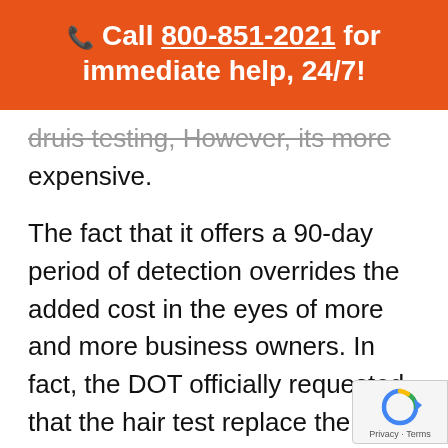📞 Call 800-851-2021 for immediate help, 24/7!
druis testing, However, its more expensive.
The fact that it offers a 90-day period of detection overrides the added cost in the eyes of more and more business owners. In fact, the DOT officially requested that the hair test replace the urinalysis. The request is passing through the chain-of-command and